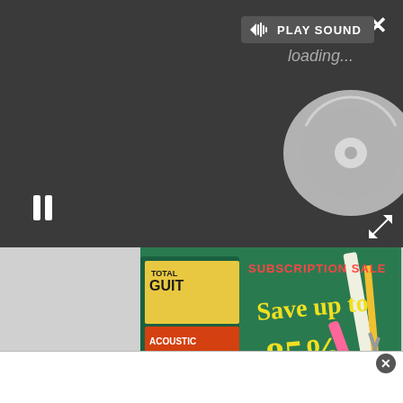[Figure (screenshot): Dark media player overlay with play sound button, pause control, close button, expand button, and a CD disc graphic loading animation. Below is an advertisement banner for magazine subscriptions showing 'SUBSCRIPTION SALE - Save up to 85% - SUBSCRIBE TODAY!' with magazine covers and school supplies imagery. At the bottom is a white popup bar with a close button.]